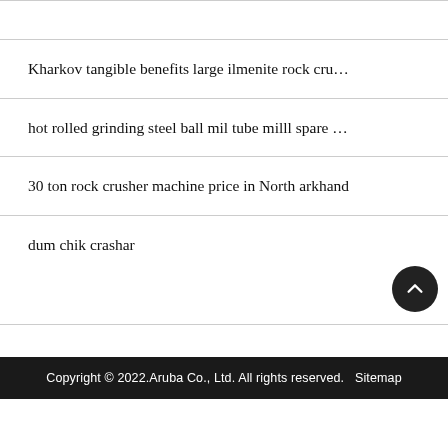Kharkov tangible benefits large ilmenite rock cru…
hot rolled grinding steel ball mil tube milll spare …
30 ton rock crusher machine price in North arkhand
dum chik crashar
Copyright © 2022.Aruba Co., Ltd. All rights reserved.   Sitemap